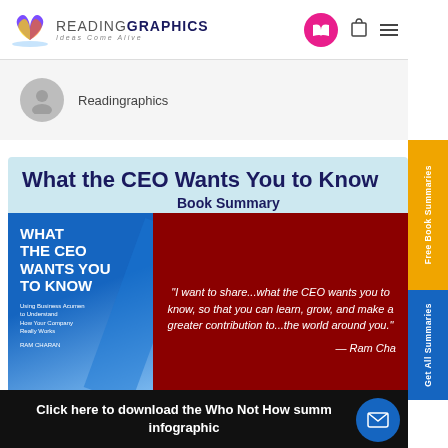READINGRAPHICS — Ideas Come Alive
Readingraphics
[Figure (screenshot): Book summary card for 'What the CEO Wants You to Know' showing book cover and quote by Ram Charan on dark red background with ReadingGraphics branding]
What the CEO Wants You to Know
Book Summary
"I want to share...what the CEO wants you to know, so that you can learn, grow, and make a greater contribution to...the world around you." — Ram Charan
Book Summary: What the CEO Wants You to Kno…
Click here to download the Who Not How summary infographic